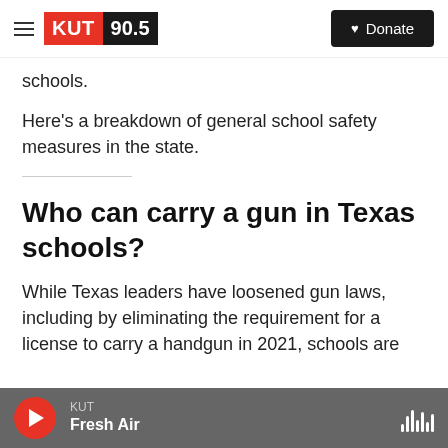[Figure (logo): KUT 90.5 radio station logo and navigation bar with Donate button]
schools.
Here's a breakdown of general school safety measures in the state.
Who can carry a gun in Texas schools?
While Texas leaders have loosened gun laws, including by eliminating the requirement for a license to carry a handgun in 2021, schools are
KUT Fresh Air